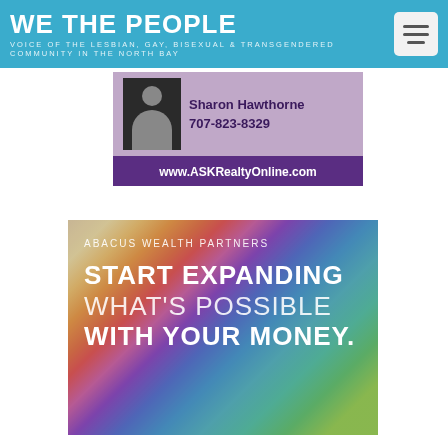WE THE PEOPLE — VOICE OF THE LESBIAN, GAY, BISEXUAL & TRANSGENDERED COMMUNITY IN THE NORTH BAY
[Figure (photo): ASK Realty advertisement showing Sharon Hawthorne, phone 707-823-8329 and website www.ASKRealtyOnline.com]
[Figure (photo): Abacus Wealth Partners advertisement with rainbow flag background. Text: ABACUS WEALTH PARTNERS / START EXPANDING / WHAT'S POSSIBLE / WITH YOUR MONEY.]